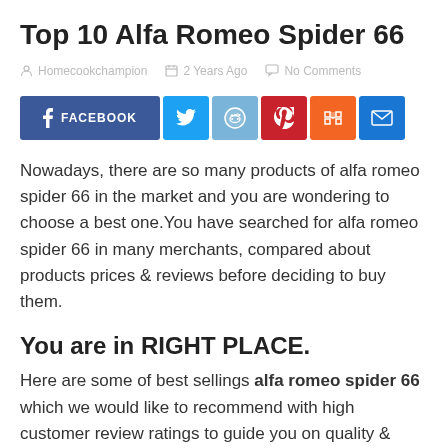Top 10 Alfa Romeo Spider 66
Homecookchampion   2 Years Ago   No Comments
[Figure (infographic): Social sharing buttons: Facebook, Twitter, Reddit, Pinterest, Mix, Email]
Nowadays, there are so many products of alfa romeo spider 66 in the market and you are wondering to choose a best one.You have searched for alfa romeo spider 66 in many merchants, compared about products prices & reviews before deciding to buy them.
You are in RIGHT PLACE.
Here are some of best sellings alfa romeo spider 66 which we would like to recommend with high customer review ratings to guide you on quality & popularity of each items.